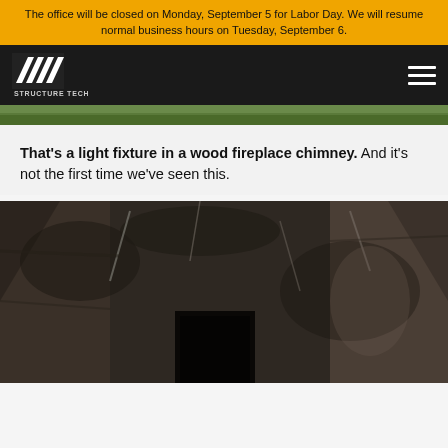The office will be closed on Monday, September 5 for Labor Day. We will resume normal business hours on Tuesday, September 6.
[Figure (logo): Structure Tech logo with diagonal lines forming an S-shape and 'STRUCTURE TECH' text below]
[Figure (photo): Top portion of outdoor photo showing grass and ground]
That's a light fixture in a wood fireplace chimney. And it's not the first time we've seen this.
[Figure (photo): Interior photo of a dark, soot-covered wood fireplace chimney showing dirty walls and a rectangular opening at the bottom]